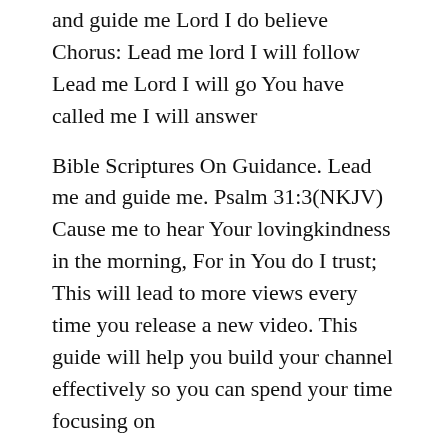and guide me Lord I do believe Chorus: Lead me lord I will follow Lead me Lord I will go You have called me I will answer
Bible Scriptures On Guidance. Lead me and guide me. Psalm 31:3(NKJV) Cause me to hear Your lovingkindness in the morning, For in You do I trust; This will lead to more views every time you release a new video. This guide will help you build your channel effectively so you can spend your time focusing on
[Figure (illustration): Promotional image with text 'HOW TO DRESS LIKE OLIVIA' on a beige/pink background with a woman in a white blazer standing on the right side.]